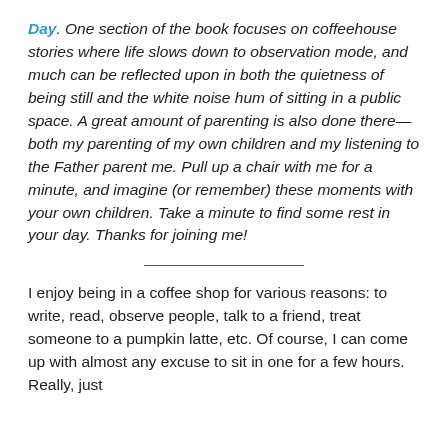Day. One section of the book focuses on coffeehouse stories where life slows down to observation mode, and much can be reflected upon in both the quietness of being still and the white noise hum of sitting in a public space. A great amount of parenting is also done there—both my parenting of my own children and my listening to the Father parent me. Pull up a chair with me for a minute, and imagine (or remember) these moments with your own children. Take a minute to find some rest in your day. Thanks for joining me!
I enjoy being in a coffee shop for various reasons: to write, read, observe people, talk to a friend, treat someone to a pumpkin latte, etc. Of course, I can come up with almost any excuse to sit in one for a few hours. Really, just